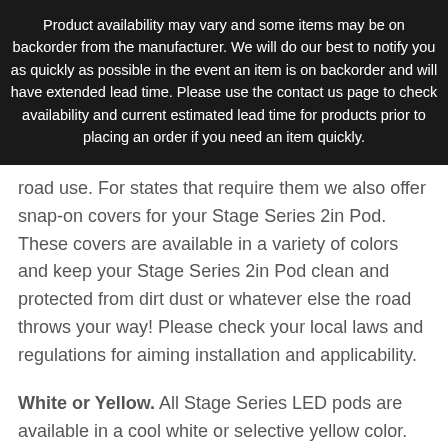Product availability may vary and some items may be on backorder from the manufacturer. We will do our best to notify you as quickly as possible in the event an item is on backorder and will have extended lead time. Please use the contact us page to check availability and current estimated lead time for products prior to placing an order if you need an item quickly.
road use. For states that require them we also offer snap-on covers for your Stage Series 2in Pod. These covers are available in a variety of colors and keep your Stage Series 2in Pod clean and protected from dirt dust or whatever else the road throws your way! Please check your local laws and regulations for aiming installation and applicability.
White or Yellow. All Stage Series LED pods are available in a cool white or selective yellow color. The white is a 6000K color temperature which is a true cool white output and matches most factory LED lighting. The selective yellow is a 3000K color temperature great for high contrast in poor weather or a distinctive look on the road. We also offer replacement lenses that allow